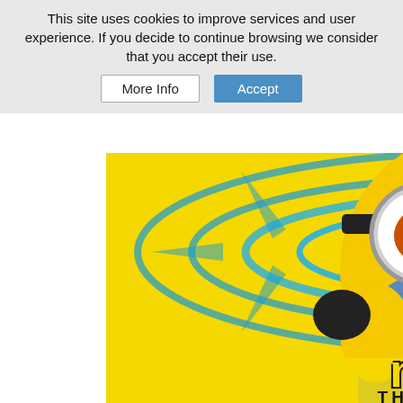This site uses cookies to improve services and user experience. If you decide to continue browsing we consider that you accept their use.
[Figure (illustration): Movie poster for 'Minions: The Rise of Gru' showing a round yellow Minion character wearing blue overalls and goggles, grinning with metal braces, set against a psychedelic tie-dye yellow and blue swirling background. The movie title 'minions THE RISE OF GRU' appears at the bottom.]